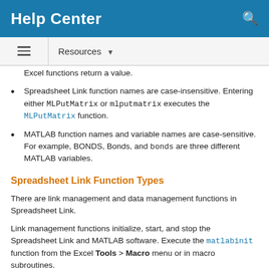Help Center
Excel functions return a value.
Spreadsheet Link function names are case-insensitive. Entering either MLPutMatrix or mlputmatrix executes the MLPutMatrix function.
MATLAB function names and variable names are case-sensitive. For example, BONDS, Bonds, and bonds are three different MATLAB variables.
Spreadsheet Link Function Types
There are link management and data management functions in Spreadsheet Link.
Link management functions initialize, start, and stop the Spreadsheet Link and MATLAB software. Execute the matlabinit function from the Excel Tools > Macro menu or in macro subroutines.
Data management functions copy data between Microsoft Excel and the MATLAB workspace. These functions execute MATLAB